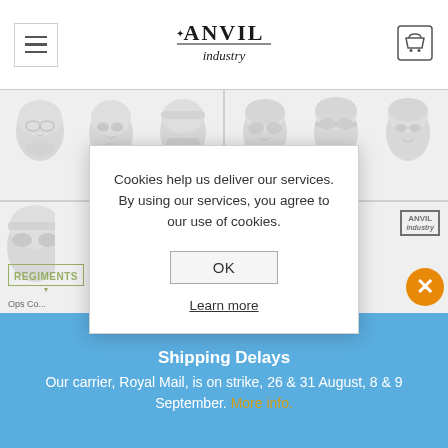[Figure (screenshot): Anvil Industry website header with hamburger menu icon on left, Anvil Industry logo in center, and shopping cart icon on right]
[Figure (photo): Product grid showing grey miniature soldier heads/helmets in two columns, with Regiments badges and product labels partially visible]
Cookies help us deliver our services. By using our services, you agree to our use of cookies.
OK
Learn more
Shipping Delays
Our carrier, Royal Mail, is on strike, 26 & 31 August, 8 & 9 September. More info.